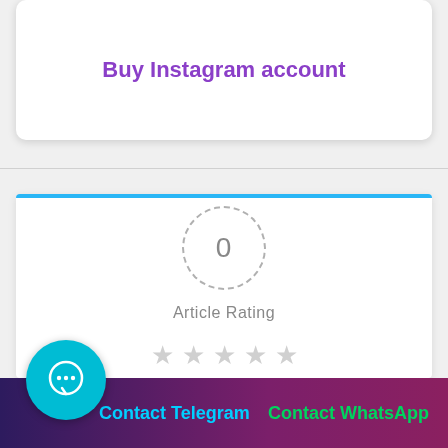Buy Instagram account
[Figure (infographic): Rating widget showing 0 with dashed circle, 'Article Rating' label, and 5 empty grey stars]
Article Rating
Contact Telegram   Contact WhatsApp